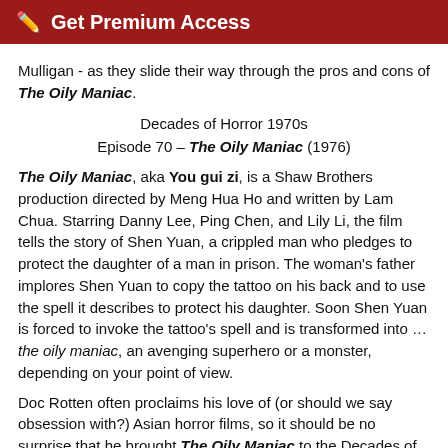Get Premium Access
Mulligan - as they slide their way through the pros and cons of The Oily Maniac.
Decades of Horror 1970s
Episode 70 – The Oily Maniac (1976)
The Oily Maniac, aka You gui zi, is a Shaw Brothers production directed by Meng Hua Ho and written by Lam Chua. Starring Danny Lee, Ping Chen, and Lily Li, the film tells the story of Shen Yuan, a crippled man who pledges to protect the daughter of a man in prison. The woman's father implores Shen Yuan to copy the tattoo on his back and to use the spell it describes to protect his daughter. Soon Shen Yuan is forced to invoke the tattoo's spell and is transformed into … the oily maniac, an avenging superhero or a monster, depending on your point of view.
Doc Rotten often proclaims his love of (or should we say obsession with?) Asian horror films, so it should be no surprise that he brought The Oily Maniac to the Decades of Horror 1970s Grue Crew's attention. Chad points out the cheezy costume looking like it's dipped in oil, the exposed beating heart, and its teeth. Jeff mentions a vague similarity to The Greasy Strangler (2016) and Doc points out that the director of The Greasy Strangler lists The Oily Maniac as inspiration. Doc also loved the monster's scream and the way it tried to do kung fu, slinging oily maniac goo around and then turning into a swimming goo-puddle, traveling to the theme of Jaws.